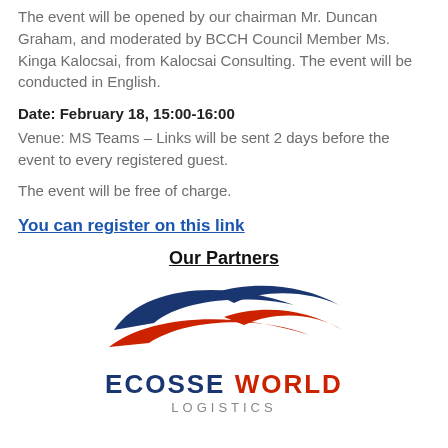The event will be opened by our chairman Mr. Duncan Graham, and moderated by BCCH Council Member Ms. Kinga Kalocsai, from Kalocsai Consulting. The event will be conducted in English.
Date: February 18, 15:00-16:00
Venue: MS Teams – Links will be sent 2 days before the event to every registered guest.
The event will be free of charge.
You can register on this link
Our Partners
[Figure (logo): Ecosse World Logistics logo with stylized swoosh shapes in navy blue and red, with text ECOSSE WORLD LOGISTICS below]